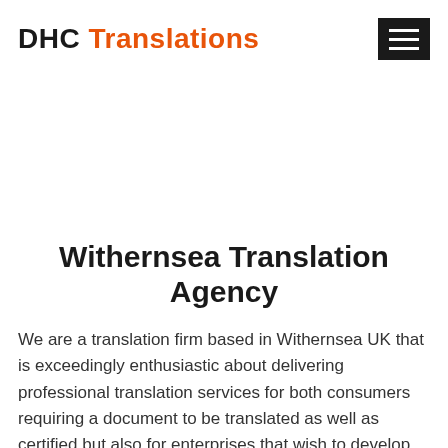DHC Translations
Withernsea Translation Agency
We are a translation firm based in Withernsea UK that is exceedingly enthusiastic about delivering professional translation services for both consumers requiring a document to be translated as well as certified but also for enterprises that wish to develop their company into other countries. We will constantly provide the best possible services at a